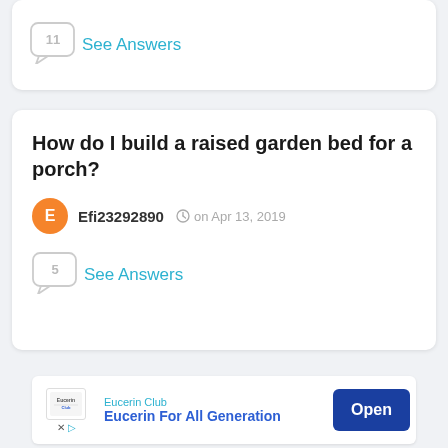11  See Answers
How do I build a raised garden bed for a porch?
Efi23292890  on Apr 13, 2019
5  See Answers
Eucerin Club  Eucerin For All Generation  Open